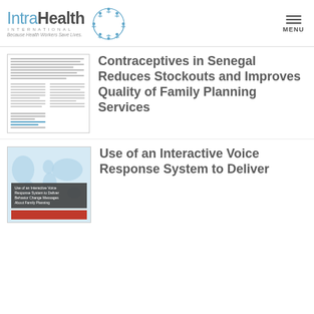IntraHealth International — Because Health Workers Save Lives. MENU
[Figure (screenshot): Thumbnail of a research document page with dense text columns]
Contraceptives in Senegal Reduces Stockouts and Improves Quality of Family Planning Services
[Figure (screenshot): Thumbnail of a report cover with world map background, overlay text about Interactive Voice Response System, and a red bar at the bottom]
Use of an Interactive Voice Response System to Deliver